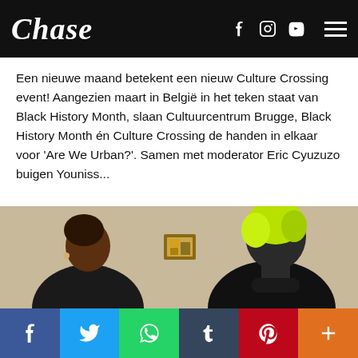Chase
Een nieuwe maand betekent een nieuw Culture Crossing event! Aangezien maart in België in het teken staat van Black History Month, slaan Cultuurcentrum Brugge, Black History Month én Culture Crossing de handen in elkaar voor 'Are We Urban?'. Samen met moderator Eric Cyuzuzo buigen Youniss...
[Figure (photo): Two people in conversation. On the left, a Black woman with braided hair wearing a black top. On the right, a person with bright yellow-green hair seen from behind, wearing a black turtleneck. A small framed picture is visible on the beige wall in the background.]